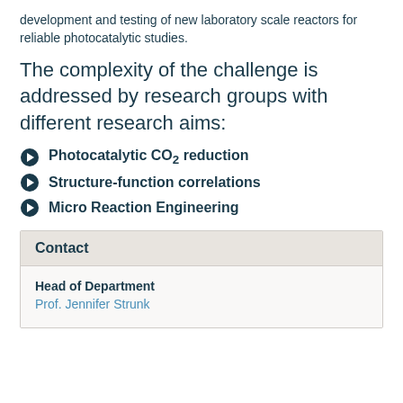development and testing of new laboratory scale reactors for reliable photocatalytic studies.
The complexity of the challenge is addressed by research groups with different research aims:
Photocatalytic CO₂ reduction
Structure-function correlations
Micro Reaction Engineering
Contact
Head of Department
Prof. Jennifer Strunk